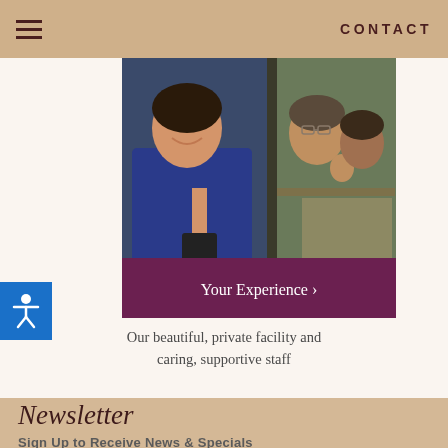CONTACT
[Figure (photo): Photo collage showing two staff members at a medical/beauty facility. Left: woman in blue scrubs smiling, holding equipment. Right: two people waving and smiling through a glass door.]
Your Experience ›
Our beautiful, private facility and caring, supportive staff
Newsletter
Sign Up to Receive News & Specials